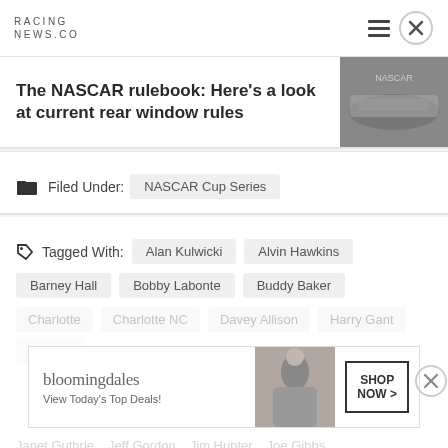RACING NEWS.CO
The NASCAR rulebook: Here's a look at current rear window rules
[Figure (photo): NASCAR race car on track, blurred action shot]
Filed Under: NASCAR Cup Series
Tagged With: Alan Kulwicki  Alvin Hawkins  Barney Hall  Bobby Labonte  Buddy Baker  Charlotte  Charlotte NC  Davey Allison  Harry Gant  Harry...  Janet Guthrie  Jeff Gordon  Jim Hunter  Joe Gibbs
[Figure (screenshot): Bloomingdale's advertisement banner: bloomingdales - View Today's Top Deals! - SHOP NOW >]